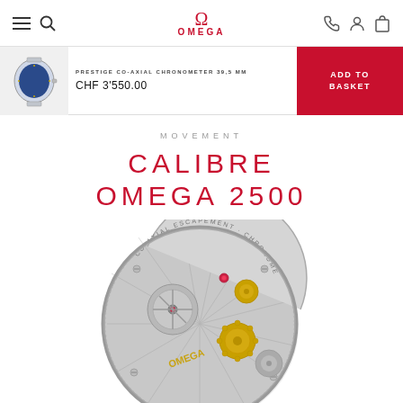OMEGA
[Figure (screenshot): Product bar showing OMEGA De Ville watch thumbnail, product name PRESTIGE CO-AXIAL CHRONOMETER 39,5 MM, price CHF 3'550.00, and red ADD TO BASKET button]
MOVEMENT
CALIBRE OMEGA 2500
[Figure (photo): Close-up photo of the Calibre OMEGA 2500 watch movement showing the intricate mechanical components, gears, gold-colored parts, and OMEGA engraving on the rotor]